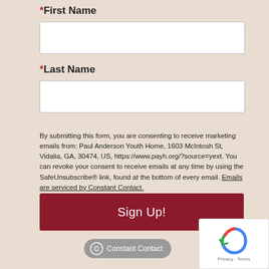*First Name
[Figure (other): Empty text input box for First Name field]
*Last Name
[Figure (other): Empty text input box for Last Name field]
By submitting this form, you are consenting to receive marketing emails from: Paul Anderson Youth Home, 1603 McIntosh St, Vidalia, GA, 30474, US, https://www.payh.org/?source=yext. You can revoke your consent to receive emails at any time by using the SafeUnsubscribe® link, found at the bottom of every email. Emails are serviced by Constant Contact.
[Figure (other): Sign Up! button in dark red]
[Figure (other): Constant Contact badge/logo]
[Figure (other): reCAPTCHA widget with Privacy and Terms links]